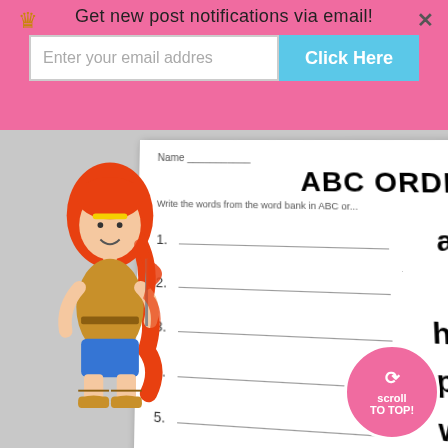Get new post notifications via email!
Enter your email addres
Click Here
[Figure (screenshot): ABC Order worksheet showing a cartoon girl with red hair holding a flag. The worksheet has title 'ABC ORDER', numbered lines 1-6 with words: and, be, help, play, with, you. Below is the alphabet row ABCDEFGHIJKLMNOPQRS and a Word Bank section showing words: and, be, he(lp), wit(h). A pink 'scroll to top' badge is in the bottom right.]